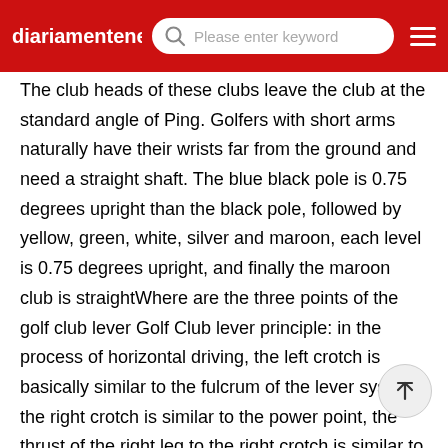diariamenteneud | Please enter keyword
The club heads of these clubs leave the club at the standard angle of Ping. Golfers with short arms naturally have their wrists far from the ground and need a straight shaft. The blue black pole is 0.75 degrees upright than the black pole, followed by yellow, green, white, silver and maroon, each level is 0.75 degrees upright, and finally the maroon club is straightWhere are the three points of the golf club lever Golf Club lever principle: in the process of horizontal driving, the left crotch is basically similar to the fulcrum of the lever system, the right crotch is similar to the power point, the thrust of the right leg to the right crotch is similar to the power, the connecting line of the left and right crotch is similar to the power arm, the club head is similar to the resistance point, and the horizontal inertia force of the club head is similar to the resistanceWhere should I hit the golf